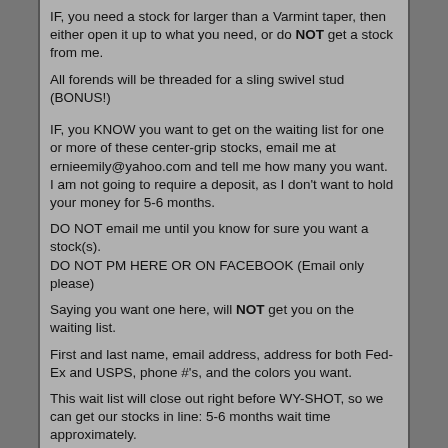IF, you need a stock for larger than a Varmint taper, then either open it up to what you need, or do NOT get a stock from me.
All forends will be threaded for a sling swivel stud (BONUS!)
IF, you KNOW you want to get on the waiting list for one or more of these center-grip stocks, email me at ernieemily@yahoo.com and tell me how many you want.
I am not going to require a deposit, as I don't want to hold your money for 5-6 months.
DO NOT email me until you know for sure you want a stock(s).
DO NOT PM HERE OR ON FACEBOOK (Email only please)
Saying you want one here, will NOT get you on the waiting list.
First and last name, email address, address for both Fed-Ex and USPS, phone #'s, and the colors you want.
This wait list will close out right before WY-SHOT, so we can get our stocks in line: 5-6 months wait time approximately.